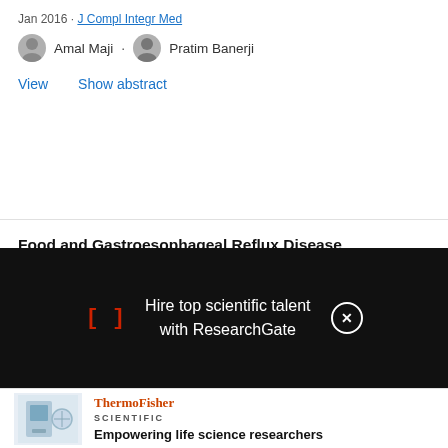Jan 2016 · J Compl Integr Med
Amal Maji · Pratim Banerji
View   Show abstract
Food and Gastroesophageal Reflux Disease
Article
May 2017
Teodora Surdea-Blaga · Dana E Negrutiu · Mariana Palage · Dan Lucian Dumitrascu
[Figure (screenshot): Black overlay banner with ResearchGate advertisement: bracket logo '[]' in red, text 'Hire top scientific talent with ResearchGate', and a circular close button]
[Figure (photo): ThermoFisher Scientific advertisement with product image (scientific instrument) and tagline 'Empowering life science researchers']